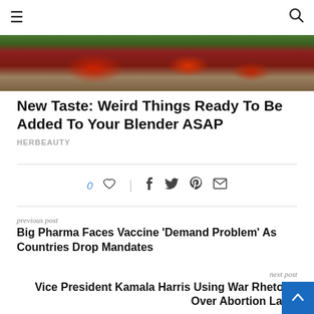≡  🔍
[Figure (photo): Close-up photo of red fruits/strawberries and greens on a wooden surface]
New Taste: Weird Things Ready To Be Added To Your Blender ASAP
HERBEAUTY
0 ♥  |  f  🐦  ⊕  ✉
previous post
Big Pharma Faces Vaccine 'Demand Problem' As Countries Drop Mandates
next post
Vice President Kamala Harris Using War Rhetoric Over Abortion Laws